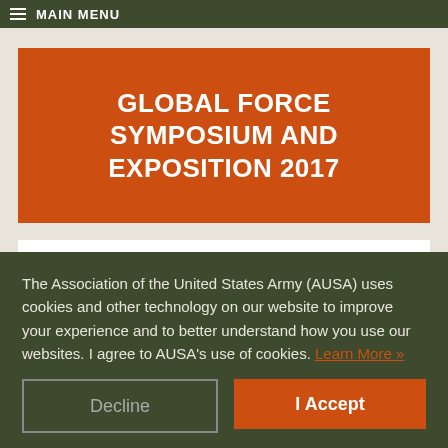MAIN MENU
GLOBAL FORCE SYMPOSIUM AND EXPOSITION 2017
ALL SESSIONS IN EVENT
The Association of the United States Army (AUSA) uses cookies and other technology on our website to improve your experience and to better understand how you use our websites. I agree to AUSA's use of cookies. Learn More »
Decline
I Accept